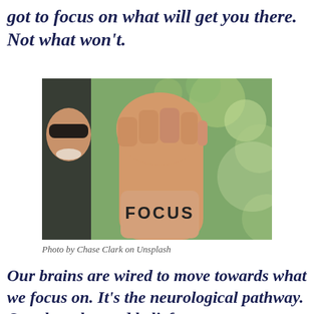got to focus on what will get you there. Not what won't.
[Figure (photo): A person's raised fist with the word FOCUS written on the inner wrist, set against a blurred green outdoor background. A person's face with sunglasses is partially visible on the left.]
Photo by Chase Clark on Unsplash
Our brains are wired to move towards what we focus on. It's the neurological pathway. Our thoughts and beliefs